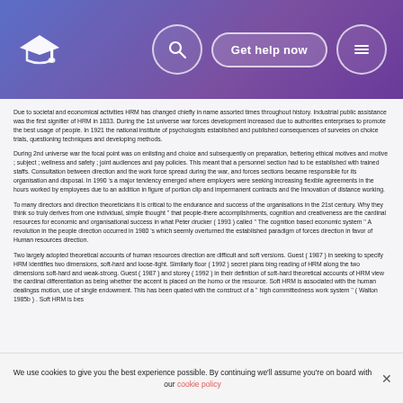Get help now
Due to societal and economical activities HRM has changed chiefly in name assorted times throughout history. Industrial public assistance was the first signifier of HRM in 1833. During the 1st universe war forces development increased due to authorities enterprises to promote the best usage of people. In 1921 the national institute of psychologists established and published consequences of surveies on choice trials, questioning techniques and developing methods.
During 2nd universe war the focal point was on enlisting and choice and subsequently on preparation, bettering ethical motives and motive ; subject ; wellness and safety ; joint audiences and pay policies. This meant that a personnel section had to be established with trained staffs. Consultation between direction and the work force spread during the war, and forces sections became responsible for its organisation and disposal. In 1990 's a major tendency emerged where employers were seeking increasing flexible agreements in the hours worked by employees due to an addition in figure of portion clip and impermanent contracts and the Innovation of distance working.
To many directors and direction theoreticians it is critical to the endurance and success of the organisations in the 21st century. Why they think so truly derives from one individual, simple thought '' that people-there accomplishments, cognition and creativeness are the cardinal resources for economic and organisational success in what Peter drucker ( 1993 ) called '' The cognition based economic system '' A revolution in the people direction occurred in 1980 's which seemly overturned the established paradigm of forces direction in favor of Human resources direction.
Two largely adopted theoretical accounts of human resources direction are difficult and soft versions. Guest ( 1987 ) in seeking to specify HRM identifies two dimensions, soft-hard and loose-tight. Similarly floor ( 1992 ) secret plans bing reading of HRM along the two dimensions soft-hard and weak-strong. Guest ( 1987 ) and storey ( 1992 ) in their definition of soft-hard theoretical accounts of HRM view the cardinal differentiation as being whether the accent is placed on the homo or the resource. Soft HRM is associated with the human dealingss motion, use of single endowment. This has been quated with the construct of a '' high committedness work system '' ( Walton 1985b ) . Soft HRM is bes
We use cookies to give you the best experience possible. By continuing we'll assume you're on board with our cookie policy